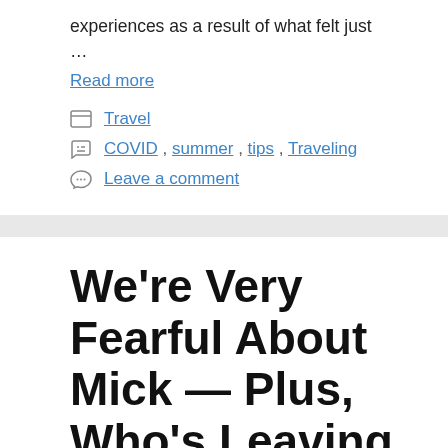experiences as a result of what felt just …
Read more
Travel
COVID, summer, tips, Traveling
Leave a comment
We're Very Fearful About Mick — Plus, Who's Leaving City?
August 22, 2022 by missthinkup.com